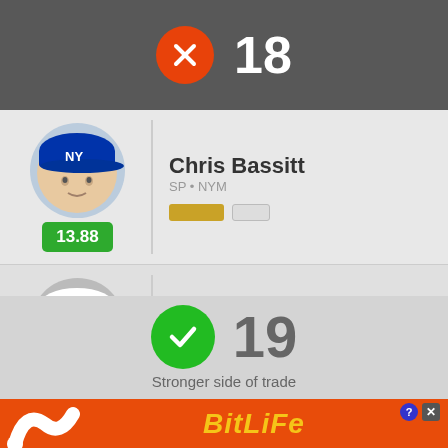[Figure (infographic): Orange circle with X icon and number 18 in white on dark grey background — losing side score]
[Figure (photo): Chris Bassitt headshot with Mets cap, score badge 13.88]
Chris Bassitt
SP • NYM
[Figure (photo): Jorge Mateo headshot with Orioles cap, score badge 5.39]
Jorge Mateo
SS • BAL
[Figure (infographic): Green circle with checkmark and number 19 — stronger side of trade]
Stronger side of trade
[Figure (infographic): BitLife advertisement banner at bottom]